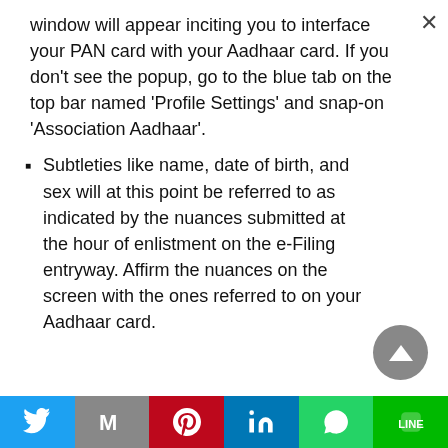window will appear inciting you to interface your PAN card with your Aadhaar card. If you don't see the popup, go to the blue tab on the top bar named 'Profile Settings' and snap-on 'Association Aadhaar'.
Subtleties like name, date of birth, and sex will at this point be referred to as indicated by the nuances submitted at the hour of enlistment on the e-Filing entryway. Affirm the nuances on the screen with the ones referred to on your Aadhaar card.